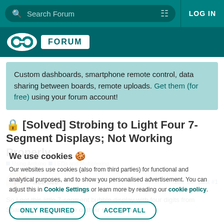Search Forum | LOG IN
[Figure (logo): Arduino infinity logo and FORUM badge on teal background]
Custom dashboards, smartphone remote control, data sharing between boards, remote uploads. Get them (for free) using your forum account!
[Solved] Strobing to Light Four 7-Segment Displays; Not Working Properly
Using Arduino | LEDs and Multiplexing
free-bee  Jun '14  post #1
So I got this little 7-segment bubble display with four digits from Sparkfun. I also got one of their shift registers
We use cookies 🍪
Our websites use cookies (also from third parties) for functional and analytical purposes, and to show you personalised advertisement. You can adjust this in Cookie Settings or learn more by reading our cookie policy.
ONLY REQUIRED  |  ACCEPT ALL